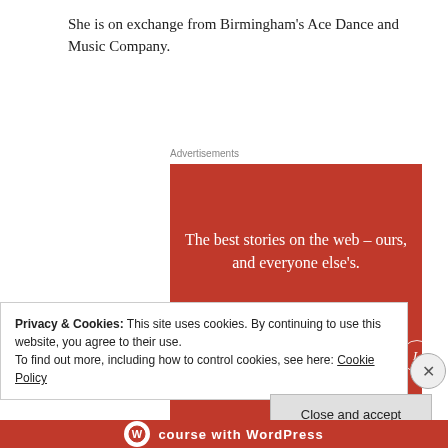She is on exchange from Birmingham's Ace Dance and Music Company.
Advertisements
[Figure (illustration): Longreads advertisement banner on red background with logo, tagline 'The best stories on the web – ours, and everyone else's.' and a 'Start reading' button]
Privacy & Cookies: This site uses cookies. By continuing to use this website, you agree to their use. To find out more, including how to control cookies, see here: Cookie Policy
Close and accept
[Figure (illustration): Partial bottom advertisement with WordPress branding and text 'course with WordPress']